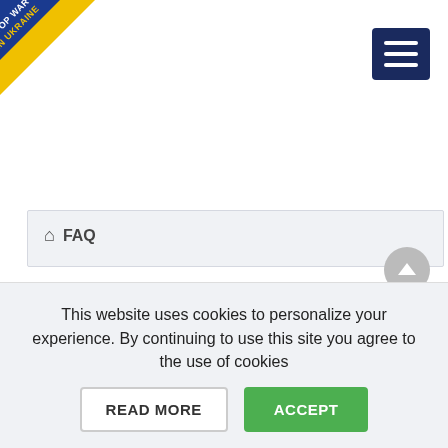[Figure (logo): Stop War in Ukraine diagonal banner in blue and yellow colors at top-left corner]
[Figure (other): Dark blue hamburger menu button with three white horizontal lines at top-right]
🏠 FAQ
GENERAL QUESTIONS
BILLING
PARTNERS
MIGRATION PARTNERS
This website uses cookies to personalize your experience. By continuing to use this site you agree to the use of cookies
READ MORE
ACCEPT